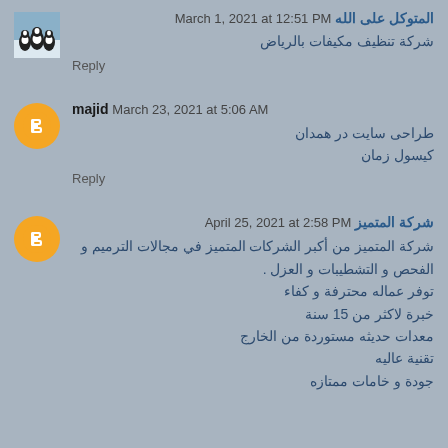المتوكل على الله March 1, 2021 at 12:51 PM
شركة تنظيف مكيفات بالرياض
Reply
majid March 23, 2021 at 5:06 AM
طراحی سایت در همدان
کيسول زمان
Reply
شركة المتميز April 25, 2021 at 2:58 PM
شركة المتميز من أكبر الشركات المتميز في مجالات الترميم و الفحص و التشطيبات و العزل .
توفر عماله محترفة و كفاء
خبرة لاكثر من 15 سنة
معدات حديثه مستوردة من الخارج
تقنية عاليه
جودة و خامات ممتازه